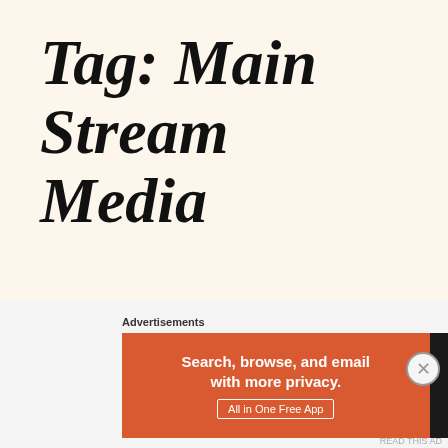Tag: Main Stream Media
Why Doesn't Our Main Stream News Media Ever Ask The Most
[Figure (other): DuckDuckGo advertisement banner with orange left panel reading 'Search, browse, and email with more privacy. All in One Free App' and dark right panel with DuckDuckGo logo. Labeled 'Advertisements' above.]